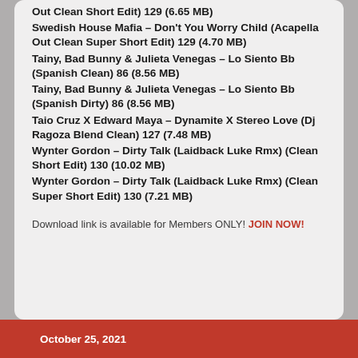Out Clean Short Edit) 129 (6.65 MB)
Swedish House Mafia – Don't You Worry Child (Acapella Out Clean Super Short Edit) 129 (4.70 MB)
Tainy, Bad Bunny & Julieta Venegas – Lo Siento Bb (Spanish Clean) 86 (8.56 MB)
Tainy, Bad Bunny & Julieta Venegas – Lo Siento Bb (Spanish Dirty) 86 (8.56 MB)
Taio Cruz X Edward Maya – Dynamite X Stereo Love (Dj Ragoza Blend Clean) 127 (7.48 MB)
Wynter Gordon – Dirty Talk (Laidback Luke Rmx) (Clean Short Edit) 130 (10.02 MB)
Wynter Gordon – Dirty Talk (Laidback Luke Rmx) (Clean Super Short Edit) 130 (7.21 MB)
Download link is available for Members ONLY! JOIN NOW!
October 25, 2021